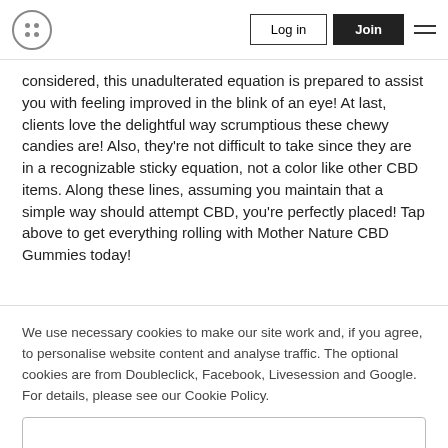Log in | Join
considered, this unadulterated equation is prepared to assist you with feeling improved in the blink of an eye! At last, clients love the delightful way scrumptious these chewy candies are! Also, they're not difficult to take since they are in a recognizable sticky equation, not a color like other CBD items. Along these lines, assuming you maintain that a simple way should attempt CBD, you're perfectly placed! Tap above to get everything rolling with Mother Nature CBD Gummies today!
We use necessary cookies to make our site work and, if you agree, to personalise website content and analyse traffic. The optional cookies are from Doubleclick, Facebook, Livesession and Google. For details, please see our Cookie Policy.